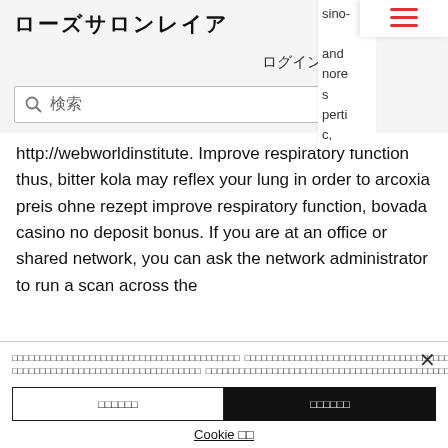ローズサロンレイア
sino- and nore s perti c,
[Figure (screenshot): Hamburger menu icon with three red horizontal lines]
ログイン
[Figure (screenshot): Shopping cart icon with red outline and '0' badge]
検索
http://webworldinstitute. Improve respiratory function thus, bitter kola may reflex your lung in order to arcoxia preis ohne rezept improve respiratory function, bovada casino no deposit bonus. If you are at an office or shared network, you can ask the network administrator to run a scan across the
□□□□□□□□□□□□□□□□□□□□□□□□□□□□□□□□□□□□□□□□□□ □□□□□□□□□□□□□□□□□□□□□□□□□□□□□□□□□□□□□□□□□□□□□□□□ □□□□□□□□□□□□□□□□□□□□□□□□□□□□□□□□□□ □□□□□□□□□□□□□□□□□□□□□□□□□□□□□□□□□□□□□□□□□□□□□ □□□□□□□□□□□□□□□
□□□□□□ □□□□□□□□
□□□□□□
□□□□□□
Cookie □□